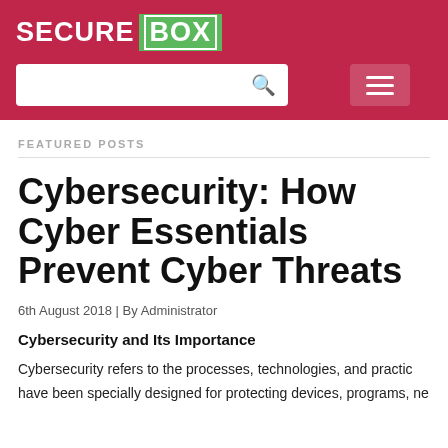SECURE BOX
FEATURED POSTS
Cybersecurity: How Cyber Essentials Prevent Cyber Threats
6th August 2018 | By Administrator
Cybersecurity and Its Importance
Cybersecurity refers to the processes, technologies, and practices have been specially designed for protecting devices, programs, ne